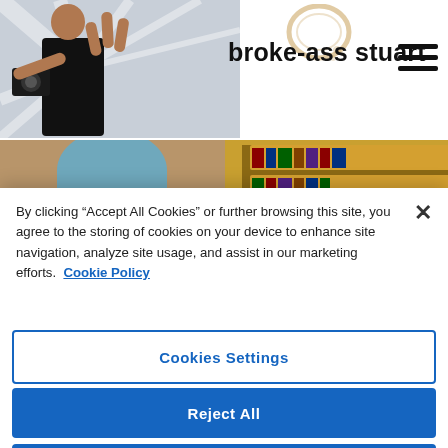broke-ass stuart
[Figure (illustration): Painting or illustration depicting Middle Eastern or Ottoman-era scholars/figures gathered around a table in what appears to be a library or study, with bookshelves filled with books in the background. One prominent figure wears a white turban.]
By clicking “Accept All Cookies” or further browsing this site, you agree to the storing of cookies on your device to enhance site navigation, analyze site usage, and assist in our marketing efforts.  Cookie Policy
Cookies Settings
Reject All
Accept All Cookies